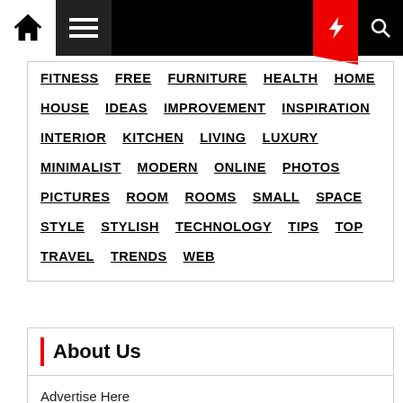Navigation bar with home, menu, moon, bolt, search icons
FITNESS FREE FURNITURE HEALTH HOME HOUSE IDEAS IMPROVEMENT INSPIRATION INTERIOR KITCHEN LIVING LUXURY MINIMALIST MODERN ONLINE PHOTOS PICTURES ROOM ROOMS SMALL SPACE STYLE STYLISH TECHNOLOGY TIPS TOP TRAVEL TRENDS WEB
About Us
Advertise Here
Contact Us